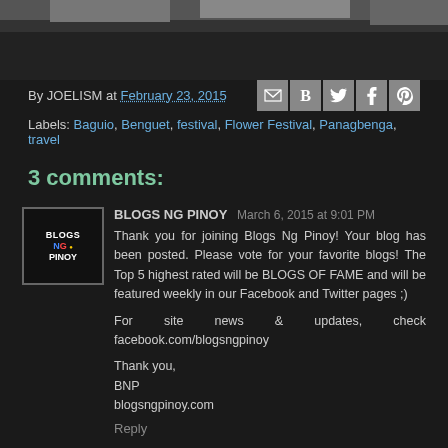[Figure (photo): Top banner photo strip, partially visible at top of page]
By JOELISM at February 23, 2015
Labels: Baguio, Benguet, festival, Flower Festival, Panagbenga, travel
3 comments:
[Figure (logo): Blogs NG Pinoy avatar/logo box]
BLOGS NG PINOY  March 6, 2015 at 9:01 PM
Thank you for joining Blogs Ng Pinoy! Your blog has been posted. Please vote for your favorite blogs! The Top 5 highest rated will be in the BLOGS OF FAME and will be featured weekly in our Facebook and Twitter pages ;)

For site news & updates, check facebook.com/blogsngpinoy

Thank you,
BNP
blogsngpinoy.com
Reply